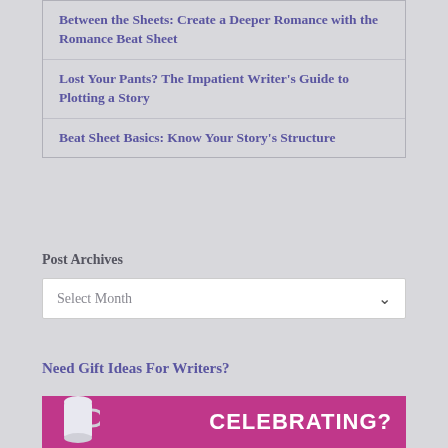Between the Sheets: Create a Deeper Romance with the Romance Beat Sheet
Lost Your Pants? The Impatient Writer's Guide to Plotting a Story
Beat Sheet Basics: Know Your Story's Structure
Post Archives
Select Month
Need Gift Ideas For Writers?
[Figure (photo): Pink/magenta banner with a mug and the word CELEBRATING?]